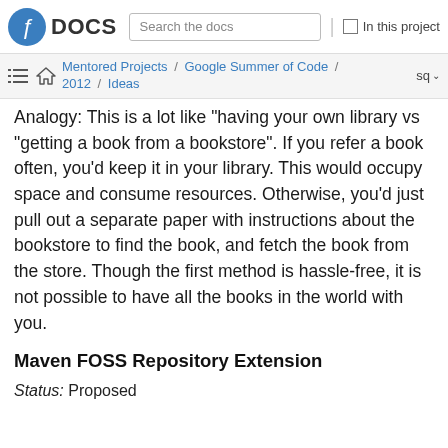Fedora DOCS | Search the docs | In this project
Mentored Projects / Google Summer of Code / 2012 / Ideas | sq
Analogy: This is a lot like "having your own library vs "getting a book from a bookstore". If you refer a book often, you'd keep it in your library. This would occupy space and consume resources. Otherwise, you'd just pull out a separate paper with instructions about the bookstore to find the book, and fetch the book from the store. Though the first method is hassle-free, it is not possible to have all the books in the world with you.
Maven FOSS Repository Extension
Status: Proposed